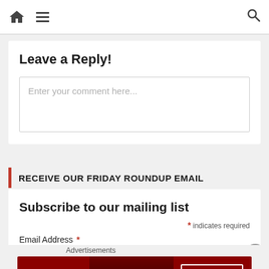Navigation bar with home icon, hamburger menu, and search icon
Leave a Reply!
Enter your comment here...
RECEIVE OUR FRIDAY ROUNDUP EMAIL
Subscribe to our mailing list
* indicates required
Email Address *
[Figure (photo): Advertisement banner: KISS BORING LIPS GOODBYE with SHOP NOW button and Macy's star logo on dark red background]
Advertisements